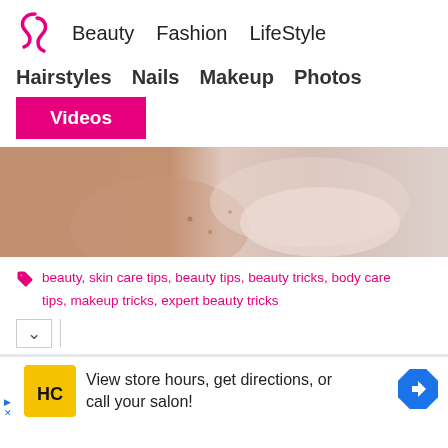Beauty  Fashion  LifeStyle
Hairstyles  Nails  Makeup  Photos
Videos
[Figure (photo): Close-up of a person's arm and torso with a light pink cream or lotion applied to skin, beauty/skincare context]
beauty, skin care tips, beauty tips, beauty tricks, body care tips, makeup tricks, expert beauty tricks
[Figure (infographic): Advertisement: HC logo (yellow background, black HC letters) with text 'View store hours, get directions, or call your salon!' and a blue direction arrow icon]